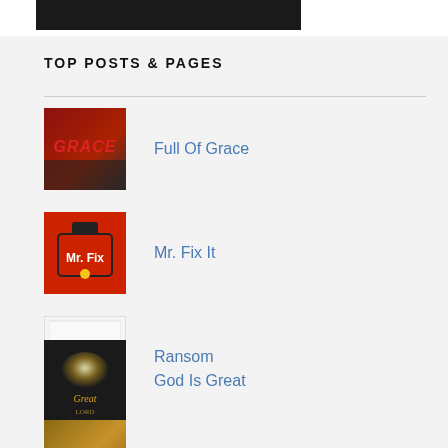[Figure (photo): Partial top image bar showing dark background with partial text]
TOP POSTS & PAGES
Full Of Grace
Mr. Fix It
Ransom
God Is Great
Giving